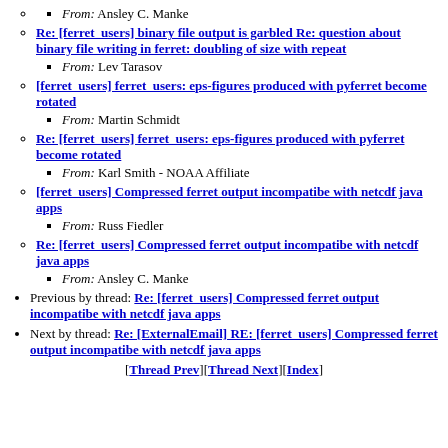From: Ansley C. Manke
Re: [ferret_users] binary file output is garbled Re: question about binary file writing in ferret: doubling of size with repeat
From: Lev Tarasov
[ferret_users] ferret_users: eps-figures produced with pyferret become rotated
From: Martin Schmidt
Re: [ferret_users] ferret_users: eps-figures produced with pyferret become rotated
From: Karl Smith - NOAA Affiliate
[ferret_users] Compressed ferret output incompatibe with netcdf java apps
From: Russ Fiedler
Re: [ferret_users] Compressed ferret output incompatibe with netcdf java apps
From: Ansley C. Manke
Previous by thread: Re: [ferret_users] Compressed ferret output incompatibe with netcdf java apps
Next by thread: Re: [ExternalEmail] RE: [ferret_users] Compressed ferret output incompatibe with netcdf java apps
[Thread Prev][Thread Next][Index]